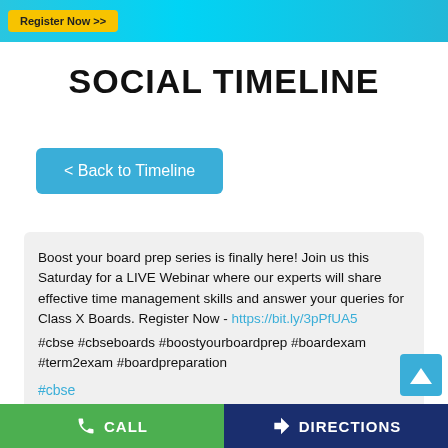[Figure (screenshot): Top banner with cyan/blue gradient background and 'Register Now >' yellow button]
SOCIAL TIMELINE
< Back to Timeline
Boost your board prep series is finally here! Join us this Saturday for a LIVE Webinar where our experts will share effective time management skills and answer your queries for Class X Boards. Register Now - https://bit.ly/3pPfUA5
#cbse #cbseboards #boostyourboardprep #boardexam #term2exam #boardpreparation
#cbse
#cbseboards
#boostyourboardprep
CALL   DIRECTIONS